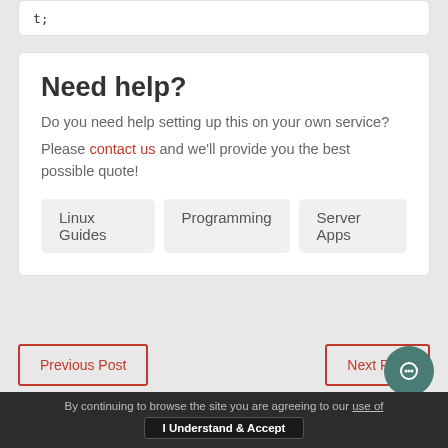t;
Need help?
Do you need help setting up this on your own service?
Please contact us and we'll provide you the best possible quote!
Linux Guides
Programming
Server Apps
Previous Post
Next Post
By continuing to browse the site you are agreeing to our use of [cookies]   I Understand & Accept